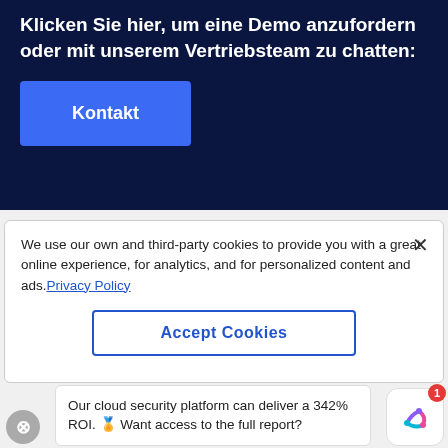Klicken Sie hier, um eine Demo anzufordern oder mit unserem Vertriebsteam zu chatten:
Kontakt
×
We use our own and third-party cookies to provide you with a great online experience, for analytics, and for personalized content and ads. Privacy Policy
Accept Cookies
Our cloud security platform can deliver a 342% ROI. 🏅 Want access to the full report?